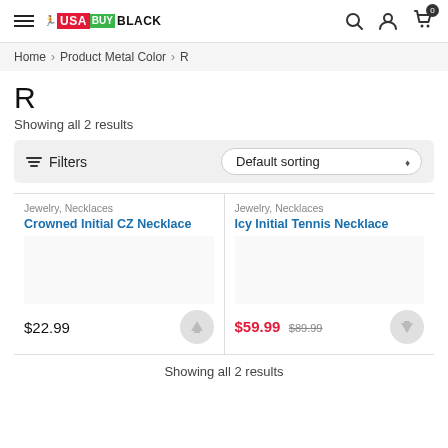USA BUY BLACK — navigation header with search, account, and cart icons
Home > Product Metal Color > R
R
Showing all 2 results
Filters   Default sorting
Jewelry, Necklaces
Crowned Initial CZ Necklace
$22.99
Jewelry, Necklaces
Icy Initial Tennis Necklace
$59.99  $89.99
Showing all 2 results